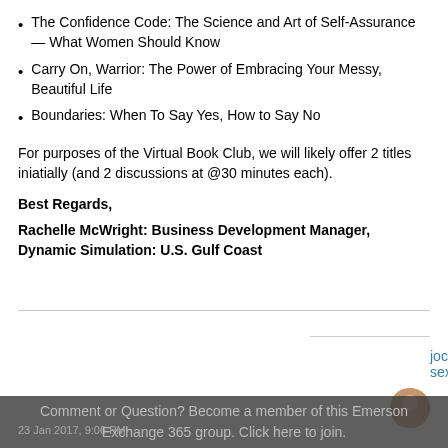The Confidence Code: The Science and Art of Self-Assurance — What Women Should Know
Carry On, Warrior: The Power of Embracing Your Messy, Beautiful Life
Boundaries: When To Say Yes, How to Say No
For purposes of the Virtual Book Club, we will likely offer 2 titles iniatially (and 2 discussions at @30 minutes each).
Best Regards,
Rachelle McWright: Business Development Manager, Dynamic Simulation: U.S. Gulf Coast
jocelyn sexton
Comment or Question? Become a member of this Emerson Exchange 365 group. Click here to join.
23 Jan 2017, 9:06 PM